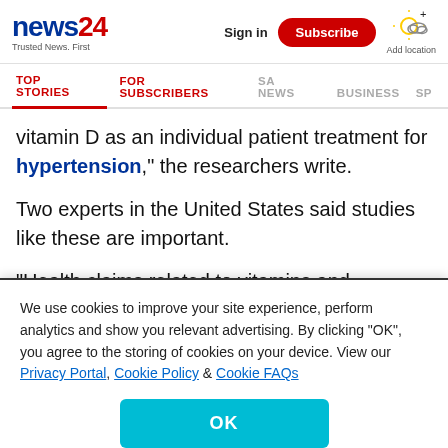news24 Trusted News. First | Sign in | Subscribe | Add location
TOP STORIES | FOR SUBSCRIBERS | SA NEWS | BUSINESS | SP
vitamin D as an individual patient treatment for hypertension," the researchers write.
Two experts in the United States said studies like these are important.
"Health claims related to vitamins and nutritional supplements need to be validated in prospective,
We use cookies to improve your site experience, perform analytics and show you relevant advertising. By clicking "OK", you agree to the storing of cookies on your device. View our Privacy Portal, Cookie Policy & Cookie FAQs
OK